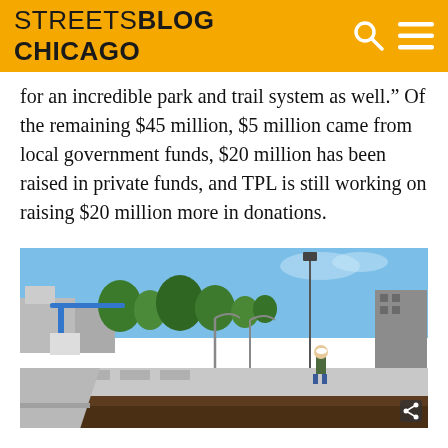STREETSBLOG CHICAGO
for an incredible park and trail system as well.” Of the remaining $45 million, $5 million came from local government funds, $20 million has been raised in private funds, and TPL is still working on raising $20 million more in donations.
[Figure (photo): Construction site photo showing a worker in a hard hat standing on a concrete retaining wall, with a blue crane, trees, residential buildings, and freshly graded dirt/mulch visible in the background under a blue sky.]